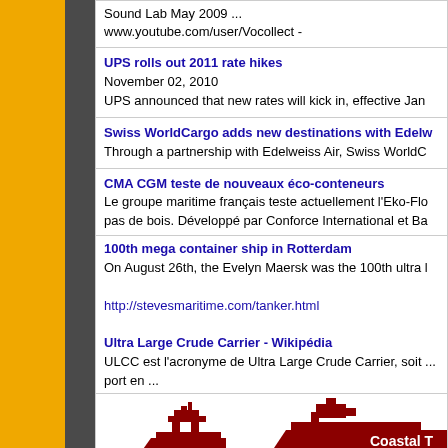Sound Lab May 2009 ...
www.youtube.com/user/Vocollect -
UPS rolls out 2011 rate hikes
November 02, 2010
UPS announced that new rates will kick in, effective Jan...
Swiss WorldCargo adds new destinations with Edelw...
Through a partnership with Edelweiss Air, Swiss WorldC...
CMA CGM teste de nouveaux éco-conteneurs
Le groupe maritime français teste actuellement l'Eko-Flo...
pas de bois. Développé par Conforce International et Ba...
100th mega container ship in Rotterdam
On August 26th, the Evelyn Maersk was the 100th ultra l...
http://stevesmaritime.com/tanker.html
Ultra Large Crude Carrier - Wikipédia
ULCC est l'acronyme de Ultra Large Crude Carrier, soit ...
port en ...
[Figure (illustration): Silhouettes of large crude carrier / tanker ships with a 'Coastal T' badge in dark red]